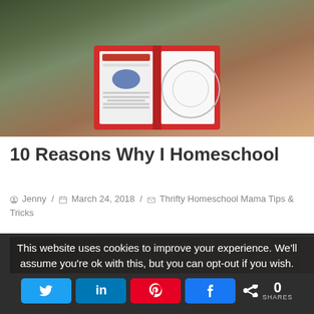[Figure (photo): A child lying on a couch holding open a red binder/curriculum notebook showing educational pages about space/planets]
10 Reasons Why I Homeschool
Jenny / March 24, 2018 / Thrifty Homeschool Mama Tips & Tricks
[Figure (photo): Partial photo strip visible at bottom of content area]
This website uses cookies to improve your experience. We'll assume you're ok with this, but you can opt-out if you wish.
0 SHARES